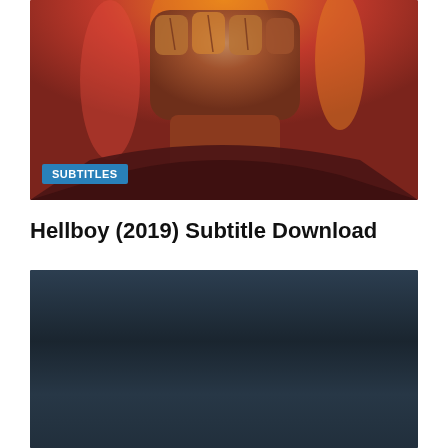[Figure (photo): Hellboy movie poster showing a large stone fist raised up against a fiery red/orange background. A blue badge labeled SUBTITLES appears in the lower left.]
Hellboy (2019) Subtitle Download
[Figure (photo): Movie poster showing an action scene with a person in a blue tracksuit in a fighting stance on a street, with cars in background. Text overlay reads: SUSPICIOUS EYES EVERYWHERE / THE WORLD IS CHASING AFTER HIM]